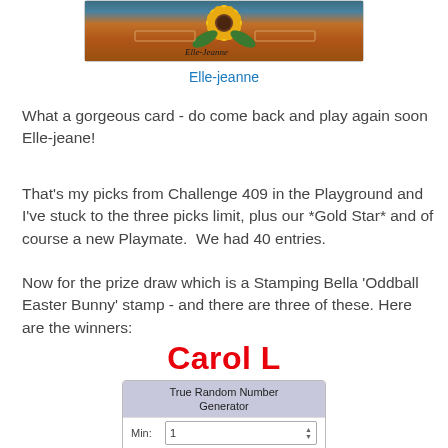[Figure (photo): A crafted card featuring a sunflower design with autumn-colored background, signed 'Elle-Jeanne' at the bottom.]
Elle-jeanne
What a gorgeous card - do come back and play again soon Elle-jeane!
That's my picks from Challenge 409 in the Playground and I've stuck to the three picks limit, plus our *Gold Star* and of course a new Playmate.  We had 40 entries.
Now for the prize draw which is a Stamping Bella 'Oddball Easter Bunny' stamp - and there are three of these. Here are the winners:
Carol L
[Figure (screenshot): True Random Number Generator widget showing Min: 1 and Max: 40 input fields with up/down arrows.]